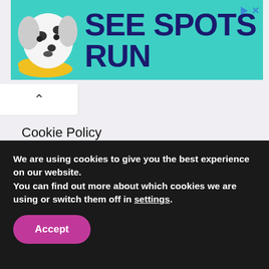[Figure (photo): Advertisement banner with a dalmatian dog and teal background reading 'SEE SPOTS RUN' in dark navy bold text]
Cookie Policy
Contact Us
We are using cookies to give you the best experience on our website.
You can find out more about which cookies we are using or switch them off in settings.
Accept